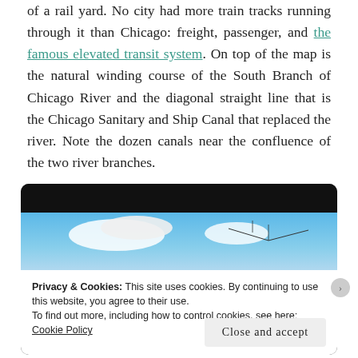of a rail yard. No city had more train tracks running through it than Chicago: freight, passenger, and the famous elevated transit system. On top of the map is the natural winding course of the South Branch of Chicago River and the diagonal straight line that is the Chicago Sanitary and Ship Canal that replaced the river. Note the dozen canals near the confluence of the two river branches.
[Figure (screenshot): A screenshot of a webpage showing a dark top bar and a partial image of blue sky with white clouds, overlaid by a cookie consent banner and a close button.]